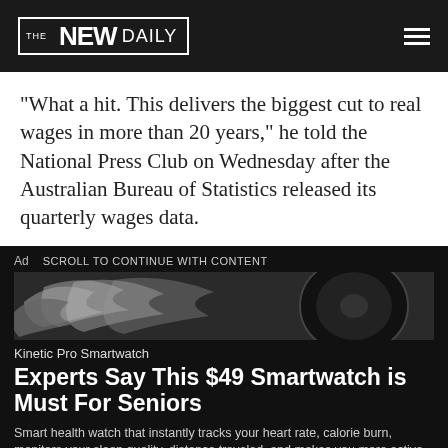THE NEWDAILY
“What a hit. This delivers the biggest cut to real wages in more than 20 years,” he told the National Press Club on Wednesday after the Australian Bureau of Statistics released its quarterly wages data.
[Figure (screenshot): Advertisement for Kinetic Pro Smartwatch showing a car wheel/tire image at top, with headline 'Experts Say This $49 Smartwatch is Must For Seniors', body text 'Smart health watch that instantly tracks your heart rate, calorie burn, monitors your sleep quality, distance traveled, and makes you more active.', and an orange 'Buy Now >' button. Ad label and 'SCROLL TO CONTINUE WITH CONTENT' text visible at top of ad.]